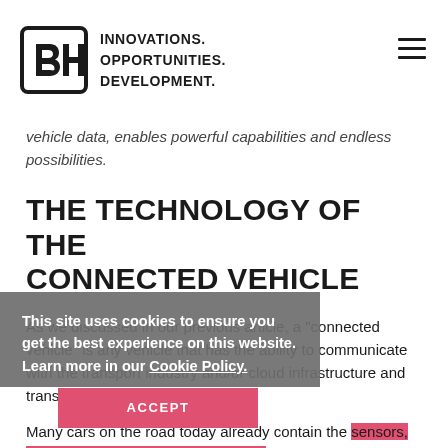INNOVATIONS. OPPORTUNITIES. DEVELOPMENT.
vehicle data, enables powerful capabilities and endless possibilities.
THE TECHNOLOGY OF THE CONNECTED VEHICLE
As we discussed in our previous article, a “connected vehicle” is any vehicle that has the ability to communicate with the transport industry and/or cloud infrastructure and transmit relevant data to the cloud.
This site uses cookies to ensure you get the best experience on this website. Learn more in our Cookie Policy.
ACCEPT
Many cars on the road today already contain the sensors, processors, and onboard computers required to connect with the cloud. The resulting “chatter” gathered from these components will enable